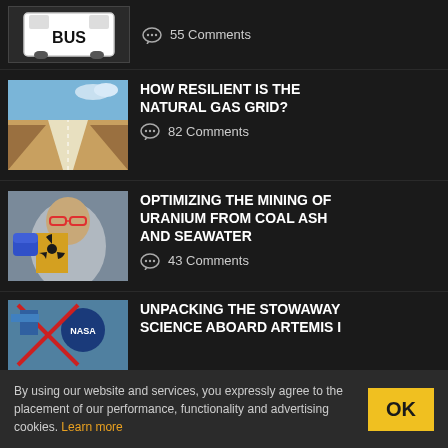55 Comments
[Figure (illustration): BUS icon/logo illustration]
HOW RESILIENT IS THE NATURAL GAS GRID?
82 Comments
[Figure (photo): Photo of a person in lab safety glasses holding a yellow radioactive warning sign]
OPTIMIZING THE MINING OF URANIUM FROM COAL ASH AND SEAWATER
43 Comments
[Figure (photo): Partial photo showing a NASA logo and red X markings]
UNPACKING THE STOWAWAY SCIENCE ABOARD ARTEMIS I
By using our website and services, you expressly agree to the placement of our performance, functionality and advertising cookies. Learn more